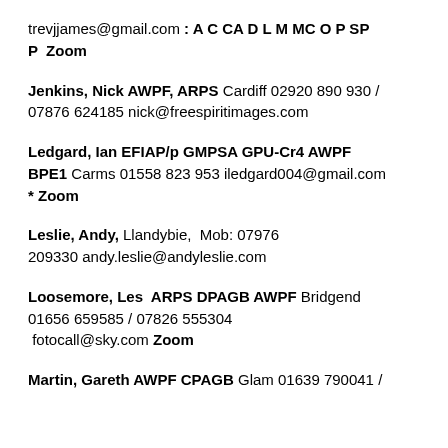trevjjames@gmail.com : A C CA D L M MC O P SP P  Zoom
Jenkins, Nick AWPF, ARPS Cardiff 02920 890 930 / 07876 624185 nick@freespiritimages.com
Ledgard, Ian EFIAP/p GMPSA GPU-Cr4 AWPF BPE1 Carms 01558 823 953 iledgard004@gmail.com * Zoom
Leslie, Andy, Llandybie, Mob: 07976 209330 andy.leslie@andyleslie.com
Loosemore, Les ARPS DPAGB AWPF Bridgend 01656 659585 / 07826 555304 fotocall@sky.com Zoom
Martin, Gareth AWPF CPAGB Glam 01639 790041 /